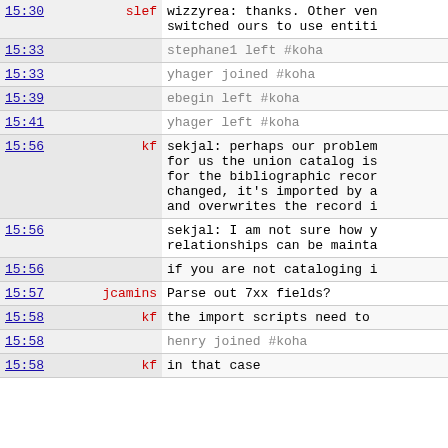| time | nick | message |
| --- | --- | --- |
| 15:30 | slef | wizzyrea: thanks. Other ve switched ours to use entiti |
| 15:33 |  | stephane1 left #koha |
| 15:33 |  | yhager joined #koha |
| 15:39 |  | ebegin left #koha |
| 15:41 |  | yhager left #koha |
| 15:56 | kf | sekjal: perhaps our problem for us the union catalog is for the bibliographic recor changed, it's imported by a and overwrites the record i |
| 15:56 |  | sekjal: I am not sure how y relationships can be mainta |
| 15:56 |  | if you are not cataloging i |
| 15:57 | jcamins | Parse out 7xx fields? |
| 15:58 | kf | the import scripts need to |
| 15:58 |  | henry joined #koha |
| 15:58 | kf | in that case |